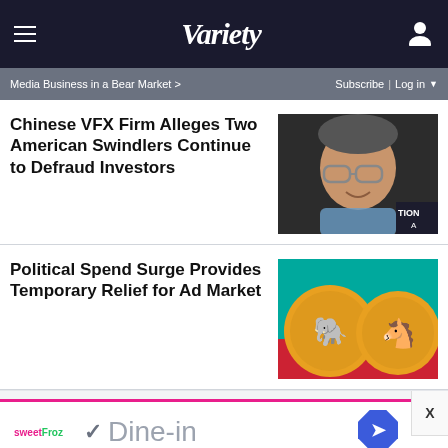VARIETY
Media Business in a Bear Market >
Subscribe | Log in
Chinese VFX Firm Alleges Two American Swindlers Continue to Defraud Investors
[Figure (photo): Headshot of a middle-aged man with glasses smiling at an event]
Political Spend Surge Provides Temporary Relief for Ad Market
[Figure (photo): Two gold coins featuring Republican elephant and Democratic donkey symbols on teal and red background]
[Figure (photo): Advertisement for SweetFroz restaurant showing Dine-in and Takeout options with checkmarks and navigation icon]